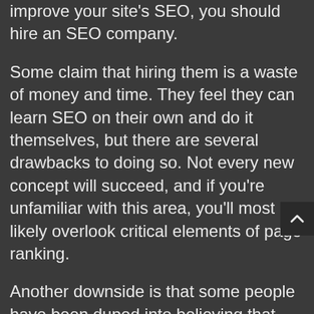improve your site's SEO, you should hire an SEO company.
Some claim that hiring them is a waste of money and time. They feel they can learn SEO on their own and do it themselves, but there are several drawbacks to doing so. Not every new concept will succeed, and if you're unfamiliar with this area, you'll most likely overlook critical elements of page ranking.
Another downside is that some people have been duped into believing that they have the perfect solution for all of their website needs when in reality it only works for a specific niche. For example, if someone wants a site membership system with a PayPal gateway to